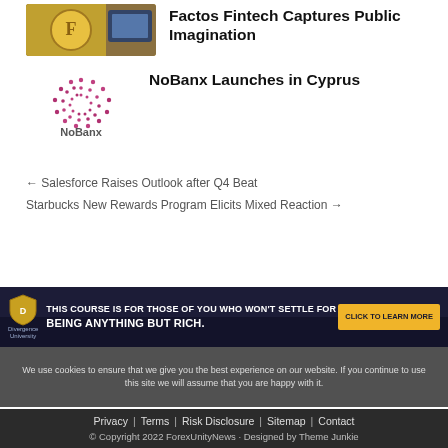[Figure (photo): Thumbnail image of a gold coin with letter F on a smartphone/tablet – cryptocurrency related]
Factos Fintech Captures Public Imagination
[Figure (logo): NoBanx logo – dotted circular pattern above text NoBanx]
NoBanx Launches in Cyprus
← Salesforce Raises Outlook after Q4 Beat
Starbucks New Rewards Program Elicits Mixed Reaction →
[Figure (infographic): Banner advertisement: Divergence University – THIS COURSE IS FOR THOSE OF YOU WHO WON'T SETTLE FOR BEING ANYTHING BUT RICH. CLICK TO LEARN MORE]
We use cookies to ensure that we give you the best experience on our website. If you continue to use this site we will assume that you are happy with it.
Privacy | Terms | Risk Disclosure | Sitemap | Contact
© Copyright 2022 ForexUnityNews · Designed by Theme Junkie